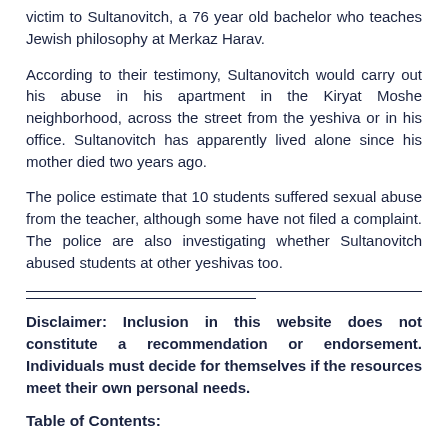victim to Sultanovitch, a 76 year old bachelor who teaches Jewish philosophy at Merkaz Harav.
According to their testimony, Sultanovitch would carry out his abuse in his apartment in the Kiryat Moshe neighborhood, across the street from the yeshiva or in his office. Sultanovitch has apparently lived alone since his mother died two years ago.
The police estimate that 10 students suffered sexual abuse from the teacher, although some have not filed a complaint. The police are also investigating whether Sultanovitch abused students at other yeshivas too.
Disclaimer: Inclusion in this website does not constitute a recommendation or endorsement. Individuals must decide for themselves if the resources meet their own personal needs.
Table of Contents: